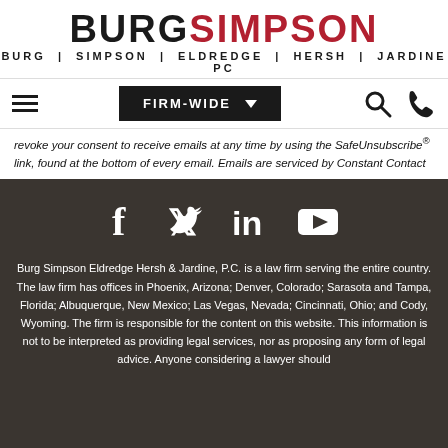BURG SIMPSON | BURG | SIMPSON | ELDREDGE | HERSH | JARDINE PC
[Figure (screenshot): Navigation bar with hamburger menu, FIRM-WIDE dropdown, search and phone icons]
revoke your consent to receive emails at any time by using the SafeUnsubscribe® link, found at the bottom of every email. Emails are serviced by Constant Contact
[Figure (infographic): Social media icons: Facebook, Twitter, LinkedIn, YouTube on dark background]
Burg Simpson Eldredge Hersh & Jardine, P.C. is a law firm serving the entire country. The law firm has offices in Phoenix, Arizona; Denver, Colorado; Sarasota and Tampa, Florida; Albuquerque, New Mexico; Las Vegas, Nevada; Cincinnati, Ohio; and Cody, Wyoming. The firm is responsible for the content on this website. This information is not to be interpreted as providing legal services, nor as proposing any form of legal advice. Anyone considering a lawyer should